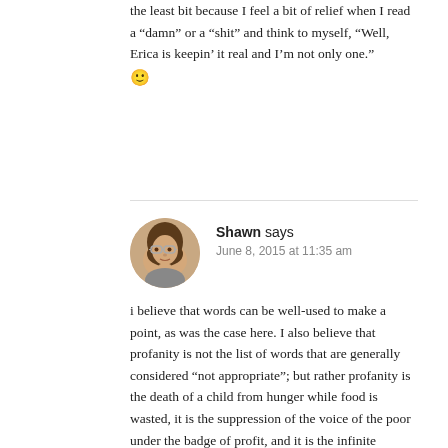the least bit because I feel a bit of relief when I read a “damn” or a “shit” and think to myself, “Well, Erica is keepin’ it real and I’m not only one.” 🙂
Shawn says
June 8, 2015 at 11:35 am
[Figure (photo): Circular avatar photo of a woman with glasses]
i believe that words can be well-used to make a point, as was the case here. I also believe that profanity is not the list of words that are generally considered “not appropriate”; but rather profanity is the death of a child from hunger while food is wasted, it is the suppression of the voice of the poor under the badge of profit, and it is the infinite number of petty coldnesses that we